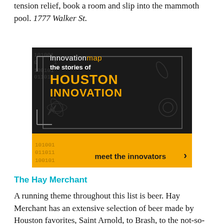tension relief, book a room and slip into the mammoth pool. 1777 Walker St.
[Figure (illustration): InnovationMap advertisement banner with dark background showing 'innovationmap — the stories of HOUSTON INNOVATION' with binary code decorations and a gold bottom bar reading 'meet the innovators' with a right arrow.]
The Hay Merchant
A running theme throughout this list is beer. Hay Merchant has an extensive selection of beer made by Houston favorites, Saint Arnold, to Brash, to the not-so-common